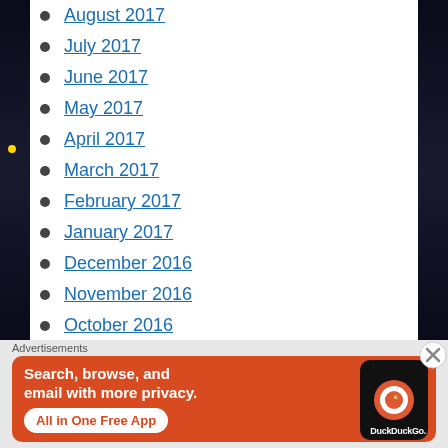August 2017
July 2017
June 2017
May 2017
April 2017
March 2017
February 2017
January 2017
December 2016
November 2016
October 2016
September 2016
Advertisements
[Figure (screenshot): DuckDuckGo advertisement banner: orange background with text 'Search, browse, and email with more privacy. All in One Free App' and a phone showing the DuckDuckGo logo]